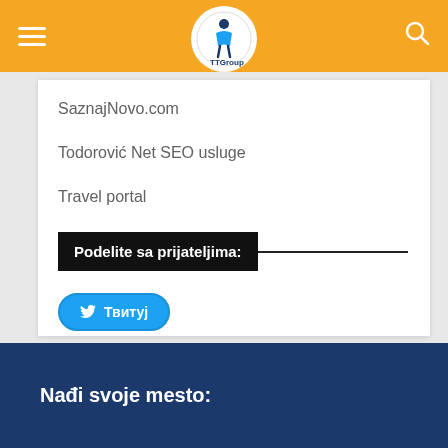TTGroup navigation header
SaznajNovo.com
Todorović Net SEO usluge
Travel portal
Podelite sa prijateljima:
Твитуј
Nađi svoje mesto: